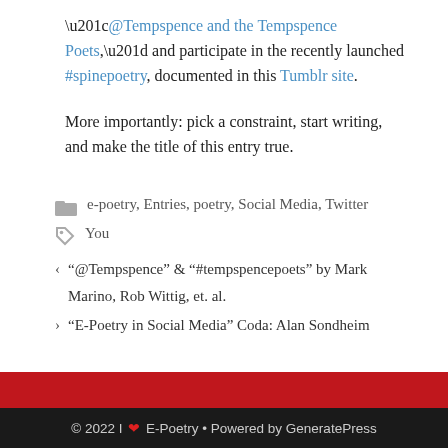“@Tempspence and the Tempspence Poets,” and participate in the recently launched #spinepoetry, documented in this Tumblr site.
More importantly: pick a constraint, start writing, and make the title of this entry true.
Categories: e-poetry, Entries, poetry, Social Media, Twitter
Tags: You
< “@Tempspence” & “#tempspencepoets” by Mark Marino, Rob Wittig, et. al.
> “E-Poetry in Social Media” Coda: Alan Sondheim
© 2022 I ♥ E-Poetry • Powered by GeneratePress